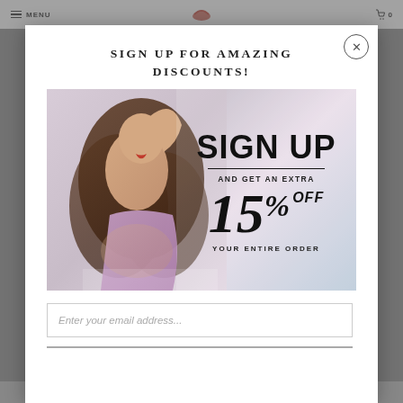MENU | [logo] | 0
SIGN UP FOR AMAZING DISCOUNTS!
[Figure (illustration): Promotional banner image showing a woman in a purple floral dress lying down with flowing hair, next to bold text reading SIGN UP AND GET AN EXTRA 15% OFF YOUR ENTIRE ORDER]
Enter your email address...